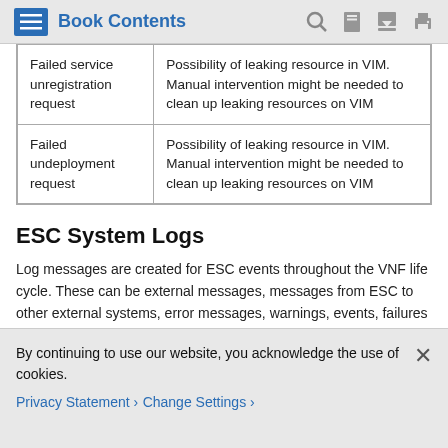Book Contents
|  |  |
| --- | --- |
| Failed service unregistration request | Possibility of leaking resource in VIM. Manual intervention might be needed to clean up leaking resources on VIM |
| Failed undeployment request | Possibility of leaking resource in VIM. Manual intervention might be needed to clean up leaking resources on VIM |
ESC System Logs
Log messages are created for ESC events throughout the VNF life cycle. These can be external messages, messages from ESC to other external systems, error messages, warnings, events, failures and so on. The log files can be found at /var/log/esc/.
By continuing to use our website, you acknowledge the use of cookies.
Privacy Statement › Change Settings ›